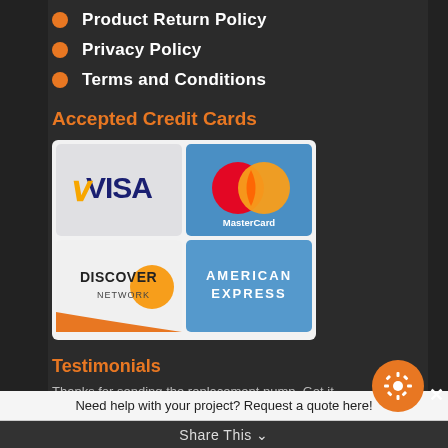Product Return Policy
Privacy Policy
Terms and Conditions
Accepted Credit Cards
[Figure (logo): Credit card logos: Visa, MasterCard, Discover Network, American Express in a 2x2 grid]
Testimonials
Thanks for sending the replacement pump. Got it installed the next day and it works great. Appreciate
Need help with your project? Request a quote here!
Share This